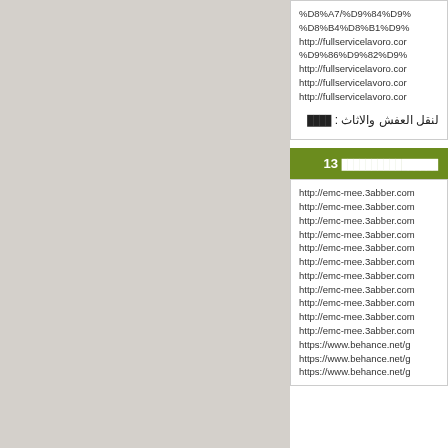%D8%A7/%D9%84%D9%... %D8%B4%D8%B1%D9%... http://fullservicelavoro.com... %D9%86%D9%82%D9%... http://fullservicelavoro.com... http://fullservicelavoro.com... http://fullservicelavoro.com...
لنقل العفش والاثاث : ████
████████████████ 13
http://emc-mee.3abber.com (multiple lines) https://www.behance.net/g (multiple lines) https://www.behance.net/g...